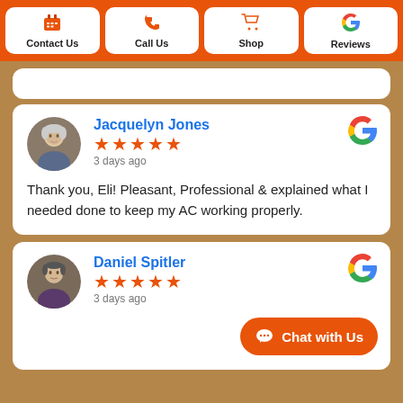Contact Us | Call Us | Shop | Reviews
Jacquelyn Jones — 3 days ago — Thank you, Eli! Pleasant, Professional & explained what I needed done to keep my AC working properly.
Daniel Spitler — 3 days ago — Chat with Us